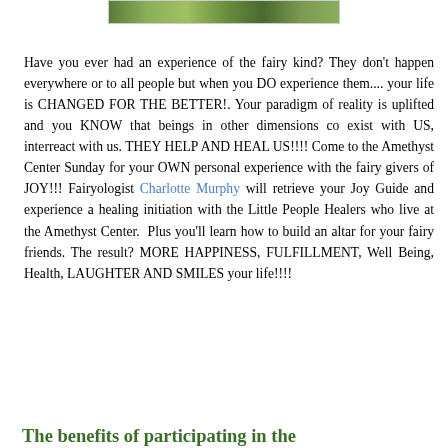[Figure (photo): A strip of a nature/fairy themed photo at the top of the page, showing green foliage.]
Have you ever had an experience of the fairy kind? They don't happen everywhere or to all people but when you DO experience them.... your life is CHANGED FOR THE BETTER!. Your paradigm of reality is uplifted and you KNOW that beings in other dimensions co exist with US, interreact with us. THEY HELP AND HEAL US!!!! Come to the Amethyst Center Sunday for your OWN personal experience with the fairy givers of JOY!!! Fairyologist Charlotte Murphy will retrieve your Joy Guide and experience a healing initiation with the Little People Healers who live at the Amethyst Center.  Plus you'll learn how to build an altar for your fairy friends. The result? MORE HAPPINESS, FULFILLMENT, Well Being, Health, LAUGHTER AND SMILES your life!!!!
The benefits of participating in the